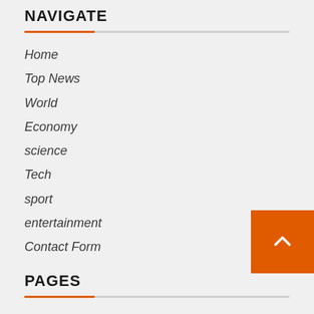NAVIGATE
Home
Top News
World
Economy
science
Tech
sport
entertainment
Contact Form
PAGES
About Us